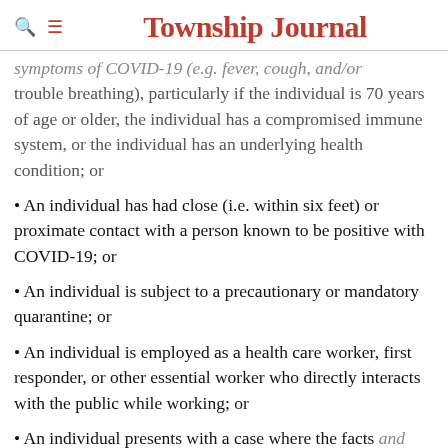Township Journal
symptoms of COVID-19 (e.g. fever, cough, and/or trouble breathing), particularly if the individual is 70 years of age or older, the individual has a compromised immune system, or the individual has an underlying health condition; or
• An individual has had close (i.e. within six feet) or proximate contact with a person known to be positive with COVID-19; or
• An individual is subject to a precautionary or mandatory quarantine; or
• An individual is employed as a health care worker, first responder, or other essential worker who directly interacts with the public while working; or
• An individual presents with a case where the facts and circumstances, as determined by the treating